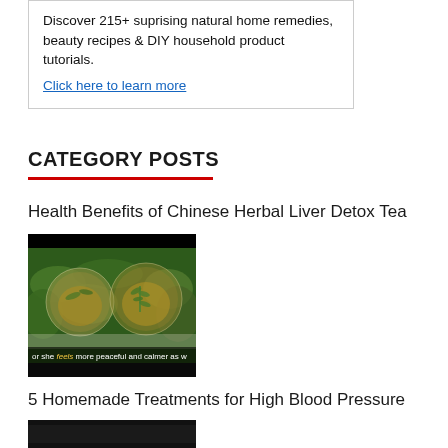Discover 215+ suprising natural home remedies, beauty recipes & DIY household product tutorials.
Click here to learn more
CATEGORY POSTS
Health Benefits of Chinese Herbal Liver Detox Tea
[Figure (photo): A photo of two glass cups filled with herbal tea and herbs/leaves, with a caption overlay reading 'or she feels more peaceful and calmer as w']
5 Homemade Treatments for High Blood Pressure
[Figure (photo): A darkened thumbnail image at the bottom of the page]